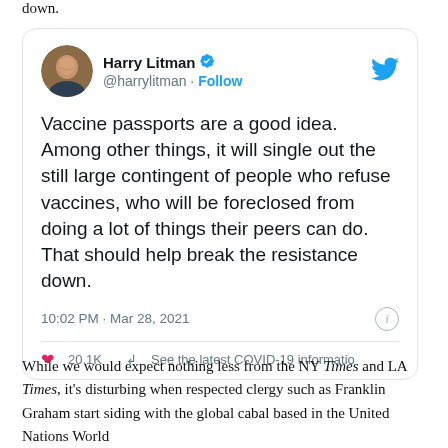down.
[Figure (screenshot): Tweet by Harry Litman (@harrylitman) with verified badge. Tweet text: 'Vaccine passports are a good idea. Among other things, it will single out the still large contingent of people who refuse vaccines, who will be foreclosed from doing a lot of things their peers can do. That should help break the resistance down.' Timestamp: 10:02 PM · Mar 28, 2021. Likes: 20.1K. Footer: See the latest COVID-19 informatio]
While we would expect nothing less from the NY Times and LA Times, it's disturbing when respected clergy such as Franklin Graham start siding with the global cabal based in the United Nations World